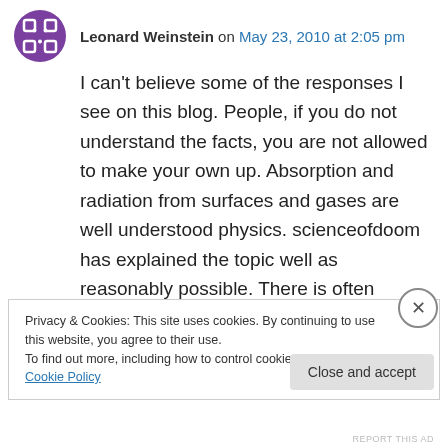Leonard Weinstein on May 23, 2010 at 2:05 pm
I can't believe some of the responses I see on this blog. People, if you do not understand the facts, you are not allowed to make your own up. Absorption and radiation from surfaces and gases are well understood physics. scienceofdoom has explained the topic well as reasonably possible. There is often confusion in understanding when intuition is used to replace technical understanding. If you look at energy
Privacy & Cookies: This site uses cookies. By continuing to use this website, you agree to their use.
To find out more, including how to control cookies, see here: Cookie Policy